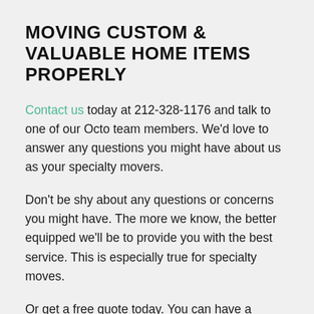MOVING CUSTOM & VALUABLE HOME ITEMS PROPERLY
Contact us today at 212-328-1176 and talk to one of our Octo team members. We'd love to answer any questions you might have about us as your specialty movers.
Don't be shy about any questions or concerns you might have. The more we know, the better equipped we'll be to provide you with the best service. This is especially true for specialty moves.
Or get a free quote today. You can have a transparent moving Octomovers estimate in just a few seconds.